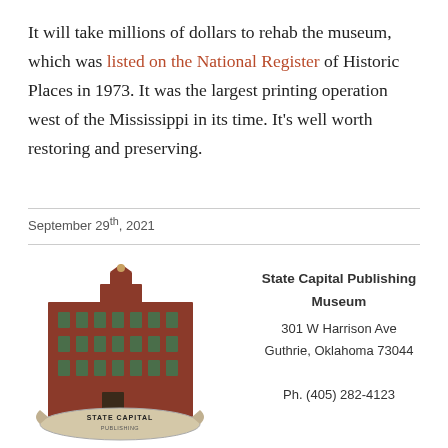It will take millions of dollars to rehab the museum, which was listed on the National Register of Historic Places in 1973. It was the largest printing operation west of the Mississippi in its time. It's well worth restoring and preserving.
September 29th, 2021
[Figure (logo): State Capital Publishing Museum building logo — a red brick multi-story historic building with a banner reading STATE CAPITAL PUBLISHING]
State Capital Publishing Museum
301 W Harrison Ave
Guthrie, Oklahoma 73044
Ph. (405) 282-4123